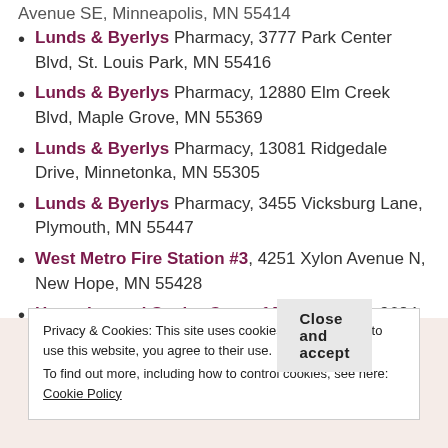Lunds & Byerlys Pharmacy, 3777 Park Center Blvd, St. Louis Park, MN 55416
Lunds & Byerlys Pharmacy, 12880 Elm Creek Blvd, Maple Grove, MN 55369
Lunds & Byerlys Pharmacy, 13081 Ridgedale Drive, Minnetonka, MN 55305
Lunds & Byerlys Pharmacy, 3455 Vicksburg Lane, Plymouth, MN 55447
West Metro Fire Station #3, 4251 Xylon Avenue N, New Hope, MN 55428
Home Instead Senior Care of Minneapolis, 9684 63rd Ave N, Maple Grove, MN 55369
Privacy & Cookies: This site uses cookies. By continuing to use this website, you agree to their use. To find out more, including how to control cookies, see here: Cookie Policy
Close and accept